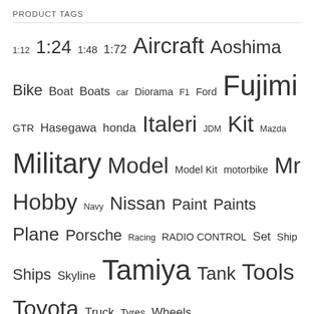PRODUCT TAGS
1:12 1:24 1:48 1:72 Aircraft Aoshima Bike Boat Boats car Diorama F1 Ford Fujimi GTR Hasegawa honda Italeri JDM Kit Mazda Military Model Model Kit motorbike Mr Hobby Navy Nissan Paint Paints Plane Porsche Racing RADIO CONTROL Set Ship Ships Skyline Tamiya Tank Tools Toyota Truck Tyres Wheels
FEATURED PRODUCTS
[Figure (photo): Blue Subaru BRZ model car kit box with Tamiya branding]
1:24 Scale Tamiya Subaru BRZ (ZD8) Model Kit
£31.66
[Figure (photo): Rally car model kit box with Tamiya branding]
1:24 Scale Renault ... '71 Model Kit
[Figure (other): Review us on Trustpilot badge]